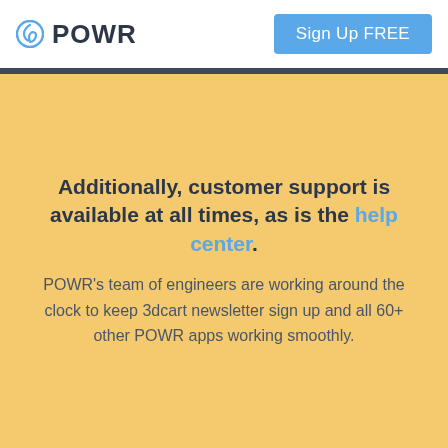POWR | Sign Up FREE
Additionally, customer support is available at all times, as is the help center.
POWR's team of engineers are working around the clock to keep 3dcart newsletter sign up and all 60+ other POWR apps working smoothly.